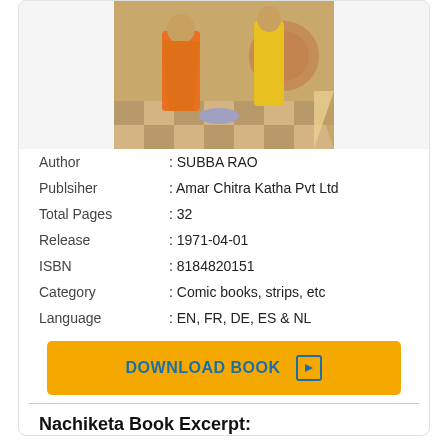[Figure (illustration): Book cover illustration showing figures in orange robes in a temple-like setting with checkered floor]
| Author | : SUBBA RAO |
| Publsiher | : Amar Chitra Katha Pvt Ltd |
| Total Pages | : 32 |
| Release | : 1971-04-01 |
| ISBN | : 8184820151 |
| Category | : Comic books, strips, etc |
| Language | : EN, FR, DE, ES & NL |
DOWNLOAD BOOK
Nachiketa Book Excerpt: